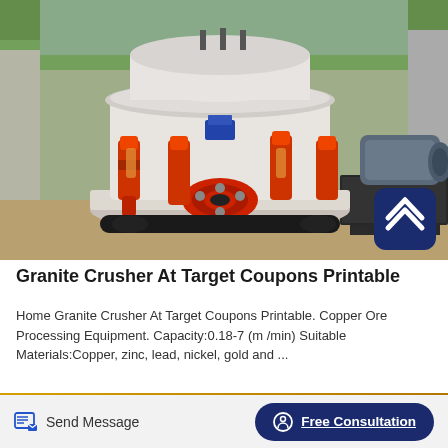[Figure (photo): A large cone/granite crusher machine, white body with red hydraulic cylinders and red wheel hubs, sitting on a metal frame inside an industrial shed. A blue electric motor is visible to the right. Dirt ground, green trees visible in background.]
Granite Crusher At Target Coupons Printable
Home Granite Crusher At Target Coupons Printable. Copper Ore Processing Equipment. Capacity:0.18-7 (m /min) Suitable Materials:Copper, zinc, lead, nickel, gold and ...
Send Message
Free Consultation